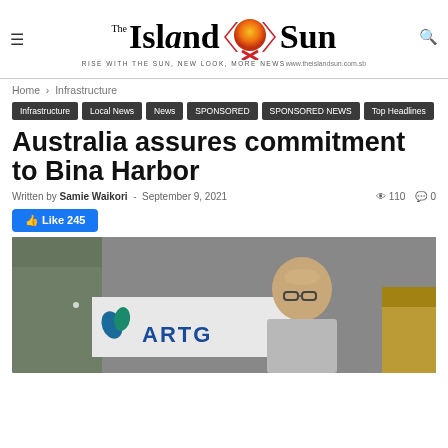The Island Sun — RISE WITH THE SUN, NEW LOOK, MORE NEWS — www.theislandsun.com.sb
Home › Infrastructure
Infrastructure
Local News
News
SPONSORED
SPONSORED NEWS
Top Headlines
Australia assures commitment to Bina Harbor
Written by Samie Waikori - September 9, 2021  👁 110  💬 0
👍 Like 245
[Figure (photo): Man standing at podium with ARTO banner, photograph from event at Bina Harbor]